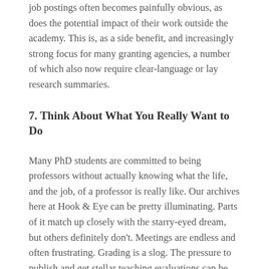job postings often becomes painfully obvious, as does the potential impact of their work outside the academy. This is, as a side benefit, and increasingly strong focus for many granting agencies, a number of which also now require clear-language or lay research summaries.
7. Think About What You Really Want to Do
Many PhD students are committed to being professors without actually knowing what the life, and the job, of a professor is really like. Our archives here at Hook & Eye can be pretty illuminating. Parts of it match up closely with the starry-eyed dream, but others definitely don't. Meetings are endless and often frustrating. Grading is a slog. The pressure to publish and get stellar teaching evaluations can be debilitating.